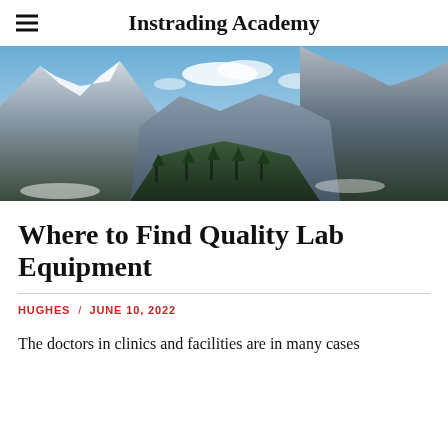Instrading Academy
[Figure (photo): Panoramic mountain landscape with snow-capped peaks, rocky cliffs, blue sky with clouds, and evergreen trees in the valley.]
Where to Find Quality Lab Equipment
HUGHES / JUNE 10, 2022
The doctors in clinics and facilities are in many cases